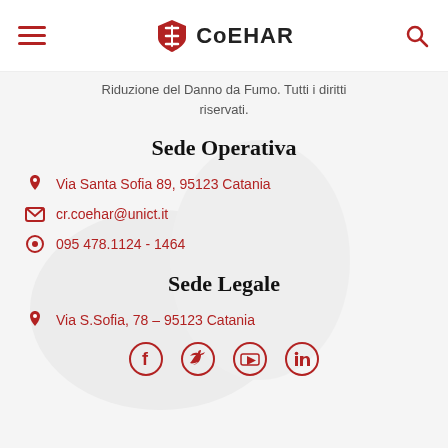CoEHAR
Riduzione del Danno da Fumo. Tutti i diritti riservati.
Sede Operativa
Via Santa Sofia 89, 95123 Catania
cr.coehar@unict.it
095 478.1124 - 1464
Sede Legale
Via S.Sofia, 78 – 95123 Catania
[Figure (infographic): Social media icons row: Facebook, Twitter, YouTube, LinkedIn — all in dark red circle outlines]